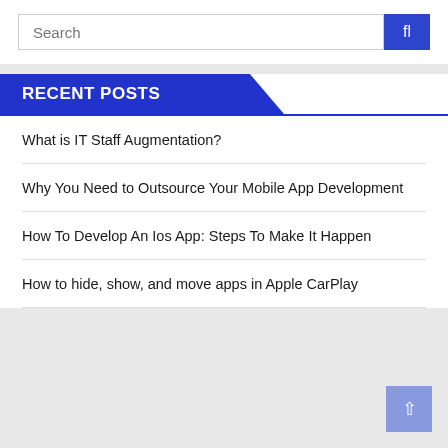[Figure (screenshot): Search bar with text input field and blue search button with magnifying glass icon]
RECENT POSTS
What is IT Staff Augmentation?
Why You Need to Outsource Your Mobile App Development
How To Develop An Ios App: Steps To Make It Happen
How to hide, show, and move apps in Apple CarPlay